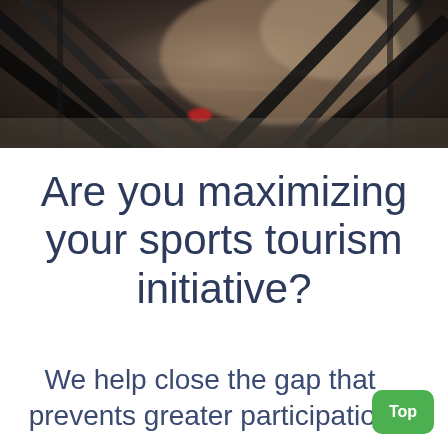[Figure (photo): Close-up blurred photo of bicycle wheels/frame with dark metal spokes and a person's hand or body partially visible, taken at close range with motion blur, dark and moody tones.]
Are you maximizing your sports tourism initiative?
We help close the gap that prevents greater participation